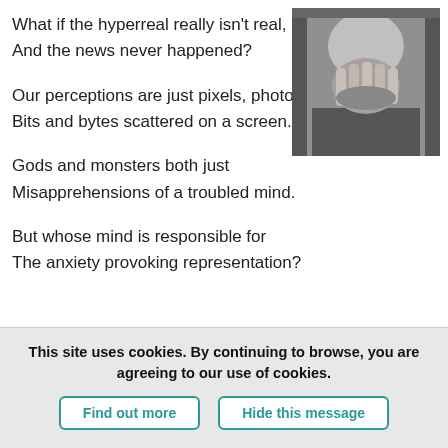What if the hyperreal really isn't real,
And the news never happened?

Our perceptions are just pixels, photons,
Bits and bytes scattered on a screen.

Gods and monsters both just
Misapprehensions of a troubled mind.

But whose mind is responsible for
The anxiety provoking representation?
[Figure (photo): Black and white photo of an elderly bald man covering his face with his hands in distress]
This site uses cookies. By continuing to browse, you are agreeing to our use of cookies.
Find out more | Hide this message